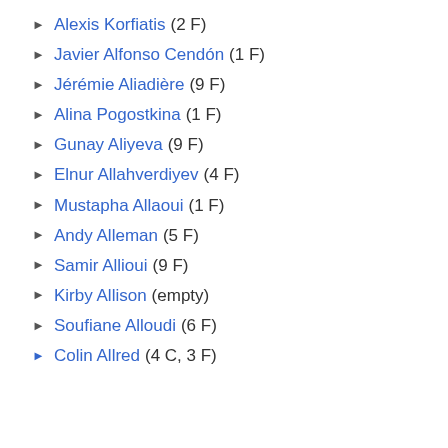► Alexis Korfiatis (2 F)
► Javier Alfonso Cendón (1 F)
► Jérémie Aliadière (9 F)
► Alina Pogostkina (1 F)
► Gunay Aliyeva (9 F)
► Elnur Allahverdiyev (4 F)
► Mustapha Allaoui (1 F)
► Andy Alleman (5 F)
► Samir Allioui (9 F)
► Kirby Allison (empty)
► Soufiane Alloudi (6 F)
► Colin Allred (4 C, 3 F)